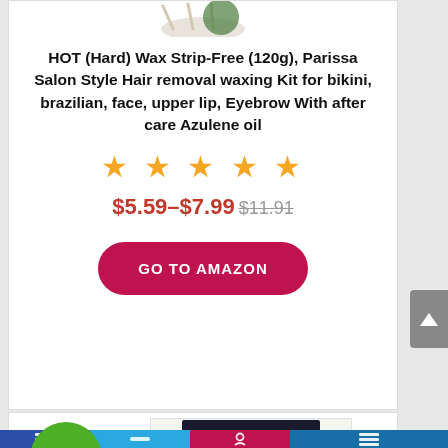[Figure (photo): Partial product image at top of card (cropped, showing wax kit accessories)]
HOT (Hard) Wax Strip-Free (120g), Parissa Salon Style Hair removal waxing Kit for bikini, brazilian, face, upper lip, Eyebrow With after care Azulene oil
[Figure (other): Five orange star rating icons]
$5.59–$7.99 $11.91
GO TO AMAZON
-17%
[Figure (photo): Second product image: Starsoft hair removal strips box, black packaging]